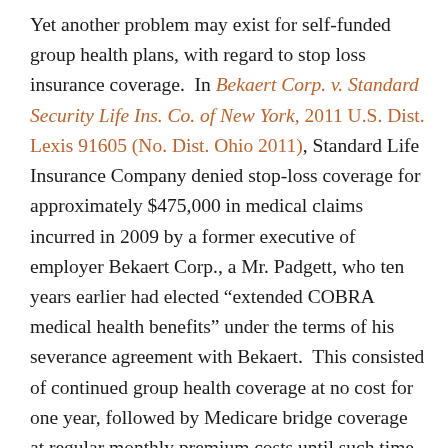Yet another problem may exist for self-funded group health plans, with regard to stop loss insurance coverage. In Bekaert Corp. v. Standard Security Life Ins. Co. of New York, 2011 U.S. Dist. Lexis 91605 (No. Dist. Ohio 2011), Standard Life Insurance Company denied stop-loss coverage for approximately $475,000 in medical claims incurred in 2009 by a former executive of employer Bekaert Corp., a Mr. Padgett, who ten years earlier had elected “extended COBRA medical health benefits” under the terms of his severance agreement with Bekaert. This consisted of continued group health coverage at no cost for one year, followed by Medicare bridge coverage at regular monthly premium costs until such time as the retiree reached age 65 and became covered by Medicare, or